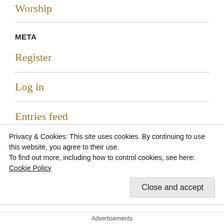Worship
META
Register
Log in
Entries feed
Comments feed
Privacy & Cookies: This site uses cookies. By continuing to use this website, you agree to their use.
To find out more, including how to control cookies, see here: Cookie Policy
Close and accept
Advertisements